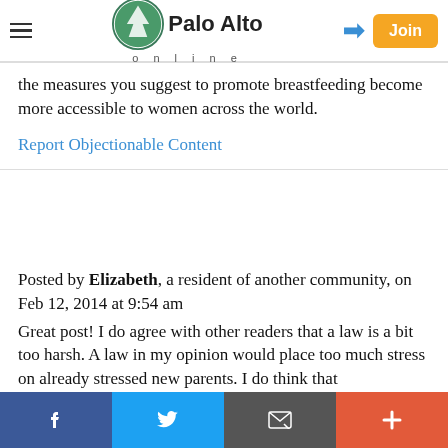Palo Alto online
...the measures you suggest to promote breastfeeding become more accessible to women across the world.
Report Objectionable Content
Posted by Elizabeth, a resident of another community, on Feb 12, 2014 at 9:54 am
Great post! I do agree with other readers that a law is a bit too harsh. A law in my opinion would place too much stress on already stressed new parents. I do think that breastfeeding should be promoted more in all over the world. I think education, information and positive promotion of breastfeeding would help increase the number of mothers who breastfeed. I myself had an
Facebook | Twitter | Email | Plus